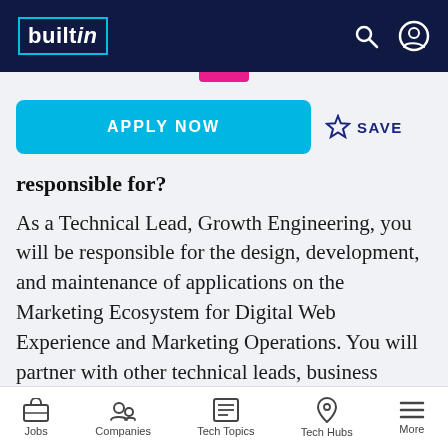builtin
responsible for?
As a Technical Lead, Growth Engineering, you will be responsible for the design, development, and maintenance of applications on the Marketing Ecosystem for Digital Web Experience and Marketing Operations. You will partner with other technical leads, business leaders, and product owners to design and build solutions.
Jobs | Companies | Tech Topics | Tech Hubs | More